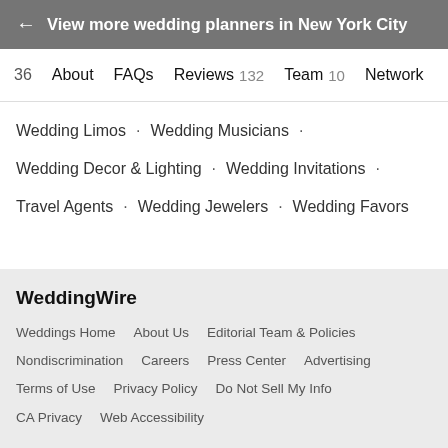← View more wedding planners in New York City
36   About   FAQs   Reviews 132   Team 10   Network
Wedding Limos · Wedding Musicians ·
Wedding Decor & Lighting · Wedding Invitations ·
Travel Agents · Wedding Jewelers · Wedding Favors
WeddingWire
Weddings Home   About Us   Editorial Team & Policies
Nondiscrimination   Careers   Press Center   Advertising
Terms of Use   Privacy Policy   Do Not Sell My Info
CA Privacy   Web Accessibility